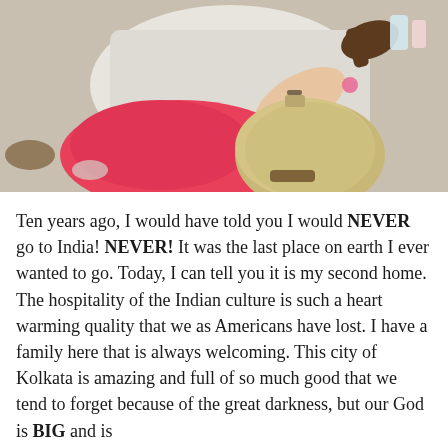[Figure (photo): Overhead view of a woman with blonde hair in a pink top leaning over a surface, with another person's dark-skinned hand visible holding something nearby. Various items visible on the ground surface.]
Ten years ago, I would have told you I would NEVER go to India! NEVER! It was the last place on earth I ever wanted to go. Today, I can tell you it is my second home. The hospitality of the Indian culture is such a heart warming quality that we as Americans have lost. I have a family here that is always welcoming. This city of Kolkata is amazing and full of so much good that we tend to forget because of the great darkness, but our God is BIG and is